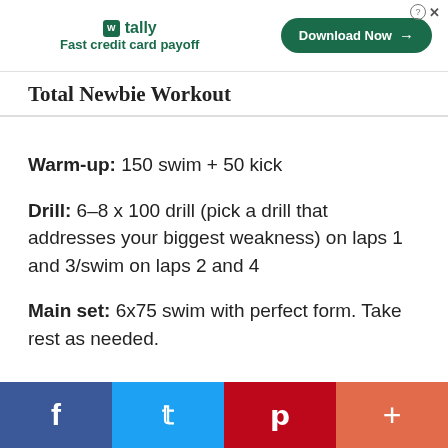[Figure (other): Tally app advertisement banner with logo, tagline 'Fast credit card payoff', and 'Download Now' button]
Total Newbie Workout
Warm-up: 150 swim + 50 kick
Drill: 6–8 x 100 drill (pick a drill that addresses your biggest weakness) on laps 1 and 3/swim on laps 2 and 4
Main set: 6x75 swim with perfect form. Take rest as needed.
[Figure (other): Social sharing bar with Facebook, Twitter, Pinterest, and plus buttons]